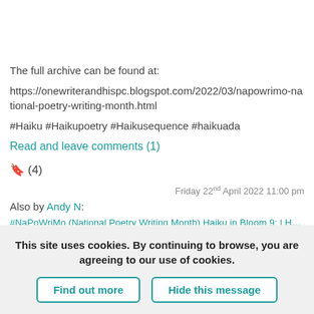The full archive can be found at:
https://onewriterandhispc.blogspot.com/2022/03/napowrimo-national-poetry-writing-month.html
#Haiku #Haikupoetry #Haikusequence #haikuada
Read and leave comments (1)
🔖 (4)
Friday 22nd April 2022 11:00 pm
Also by Andy N:
#NaPoWriMo (National Poetry Writing Month) Haiku in Bloom 9: | Haiku in Bloom
This site uses cookies. By continuing to browse, you are agreeing to our use of cookies.
Find out more
Hide this message